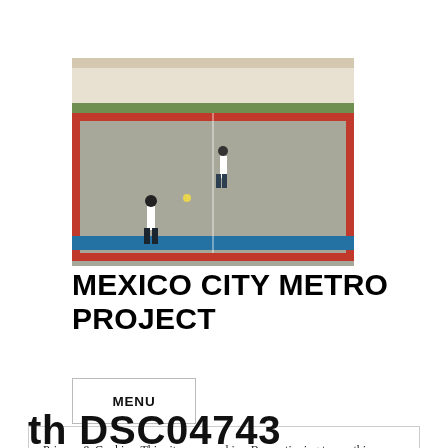[Figure (photo): Outdoor sports court (possibly futsal or tennis) with two people playing, viewed from elevated angle. Court has red/brown border markings and blue fencing.]
MEXICO CITY METRO PROJECT
MENU
Privacy & Cookies: This site uses cookies. By continuing to use this website, you agree to their use.
To find out more, including how to control cookies, see here:
Cookie Policy
Close and accept
th  DSC04743